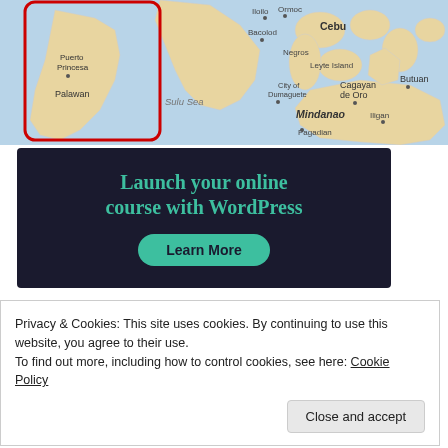[Figure (map): Map showing the Philippines including Palawan (with Puerto Princesa highlighted in a red rounded rectangle), Sulu Sea, Mindanao, Cebu, Negros, Leyte Island, Iloilo, Bacolod, Ormoc, City of Dumaguete, Cagayan de Oro, Butuan, Pagadian, Iligan]
[Figure (infographic): Dark background advertisement banner with teal text reading 'Launch your online course with WordPress' and a teal rounded button labeled 'Learn More']
Privacy & Cookies: This site uses cookies. By continuing to use this website, you agree to their use.
To find out more, including how to control cookies, see here: Cookie Policy
Close and accept